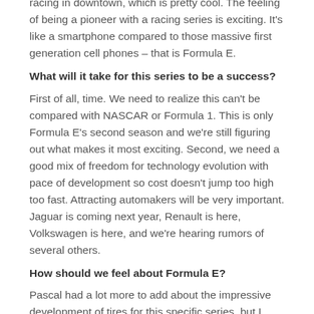racing in downtown, which is pretty cool. The feeling of being a pioneer with a racing series is exciting. It's like a smartphone compared to those massive first generation cell phones – that is Formula E.
What will it take for this series to be a success?
First of all, time. We need to realize this can't be compared with NASCAR or Formula 1. This is only Formula E's second season and we're still figuring out what makes it most exciting. Second, we need a good mix of freedom for technology evolution with pace of development so cost doesn't jump too high too fast. Attracting automakers will be very important. Jaguar is coming next year, Renault is here, Volkswagen is here, and we're hearing rumors of several others.
How should we feel about Formula E?
Pascal had a lot more to add about the impressive development of tires for this specific series, but I want